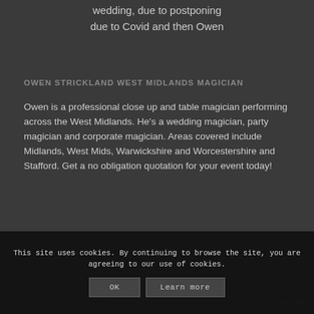wedding, due to postponing due to Covid and then Owen
OWEN STRICKLAND WEST MIDLANDS MAGICIAN
Owen is a professional close up and table magician performing across the West Midlands. He's a wedding magician, party magician and corporate magician. Areas covered include Midlands, West Mids, Warwickshire and Worcestershire and Stafford. Get a no obligation quotation for your event today!
© Copyright - Owen Strickland - Designed by KaufCol. Privacy policy
This site uses cookies. By continuing to browse the site, you are agreeing to our use of cookies.